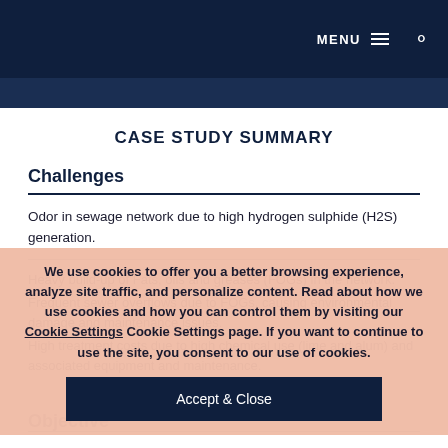MENU ☰ 🔍
CASE STUDY SUMMARY
Challenges
Odor in sewage network due to high hydrogen sulphide (H2S) generation.
Heavy build-up of Fats, oils and greases (FOGs) in the network.
Frequent sewer overflows due to FOGs, causing environmental damage and maintenance issues.
High treatment costs due to high chemical use (lime and alum) and associated equipment and maintenance.
We use cookies to offer you a better browsing experience, analyze site traffic, and personalize content. Read about how we use cookies and how you can control them by visiting our Cookie Settings Cookie Settings page. If you want to continue to use the site, you consent to our use of cookies.
Objective